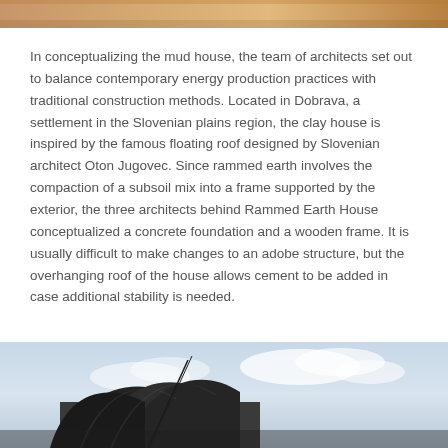[Figure (photo): Top portion of a photo, showing warm amber/brown tones, appears to be an architectural or landscape image cropped at the top edge of the page.]
In conceptualizing the mud house, the team of architects set out to balance contemporary energy production practices with traditional construction methods. Located in Dobrava, a settlement in the Slovenian plains region, the clay house is inspired by the famous floating roof designed by Slovenian architect Oton Jugovec. Since rammed earth involves the compaction of a subsoil mix into a frame supported by the exterior, the three architects behind Rammed Earth House conceptualized a concrete foundation and a wooden frame. It is usually difficult to make changes to an adobe structure, but the overhanging roof of the house allows cement to be added in case additional stability is needed.
[Figure (photo): Bottom portion of an architectural photo showing a modern building with curved/blade-like roof elements against a cloudy sky. The image is cropped and shows only the lower portion visible at the bottom of the page.]